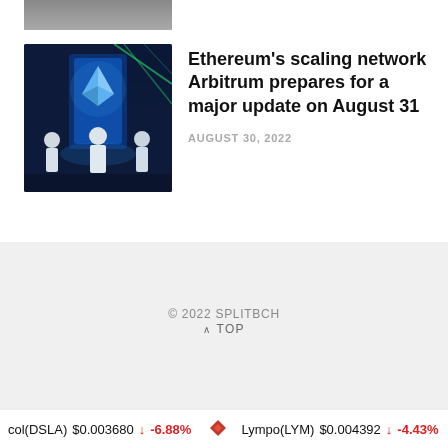[Figure (photo): Partial thumbnail of article image at top, cropped]
[Figure (illustration): Stylized digital art showing the Ethereum diamond logo glowing blue, with figures in white standing nearby in a fantasy/sci-fi scene with dark background and green accents]
Ethereum's scaling network Arbitrum prepares for a major update on August 31
AUGUST 30, 2022
© 2022 SPLITBCH
^ TOP
col(DSLA) $0.003680 ↓ -6.88% Lympo(LYM) $0.004392 ↓ -4.43%